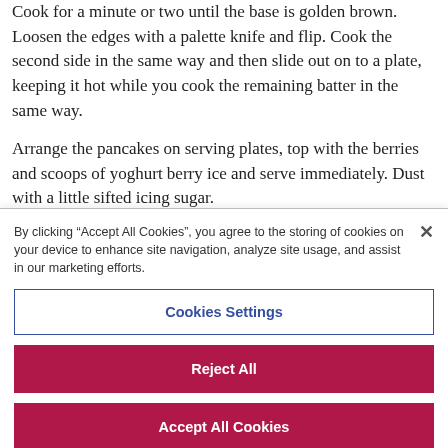Cook for a minute or two until the base is golden brown. Loosen the edges with a palette knife and flip. Cook the second side in the same way and then slide out on to a plate, keeping it hot while you cook the remaining batter in the same way.
Arrange the pancakes on serving plates, top with the berries and scoops of yoghurt berry ice and serve immediately. Dust with a little sifted icing sugar.
By clicking “Accept All Cookies”, you agree to the storing of cookies on your device to enhance site navigation, analyze site usage, and assist in our marketing efforts.
Cookies Settings
Reject All
Accept All Cookies